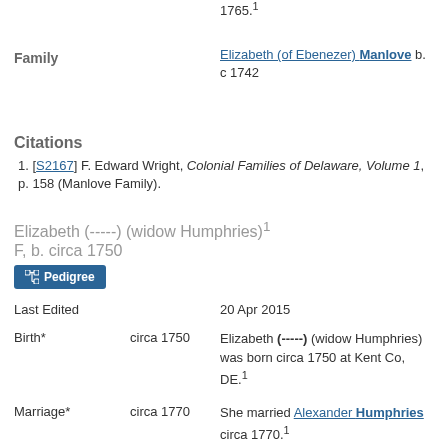1765.1
Family
Elizabeth (of Ebenezer) Manlove b. c 1742
Citations
1. [S2167] F. Edward Wright, Colonial Families of Delaware, Volume 1, p. 158 (Manlove Family).
Elizabeth (-----) (widow Humphries)1 F, b. circa 1750
[Figure (other): Pedigree button]
Last Edited
20 Apr 2015
Birth*
circa 1750
Elizabeth (-----) (widow Humphries) was born circa 1750 at Kent Co, DE.1
Marriage*
circa 1770
She married Alexander Humphries circa 1770.1